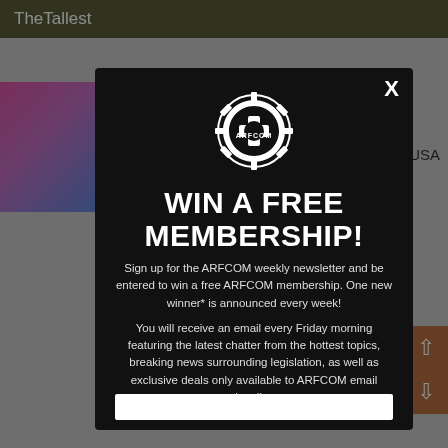TheTallest
J, USA
[Figure (screenshot): ARFCOM popup modal overlay on a forum page. The modal has a black background with the ARFCOM gear logo at the top, large white bold text reading WIN A FREE MEMBERSHIP!, descriptive text about signing up for the ARFCOM weekly newsletter to win a free membership, details about Friday morning emails with latest chatter, and a white input bar at the bottom. A close X button is in the top right of the modal.]
WIN A FREE MEMBERSHIP!
Sign up for the ARFCOM weekly newsletter and be entered to win a free ARFCOM membership. One new winner* is announced every week!
You will receive an email every Friday morning featuring the latest chatter from the hottest topics, breaking news surrounding legislation, as well as exclusive deals only available to ARFCOM email subscribers.